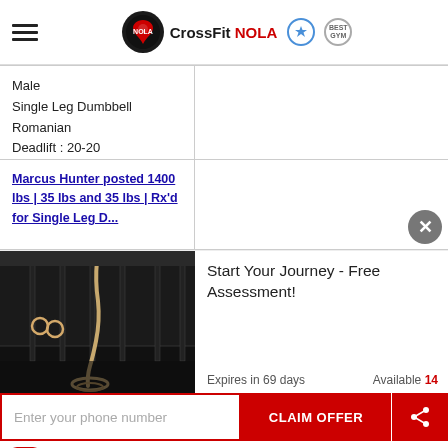[Figure (logo): CrossFit NOLA logo with hamburger menu icon, brand name, and two badge icons]
Male
Single Leg Dumbbell Romanian Deadlift : 20-20
Marcus Hunter posted 1400 lbs | 35 lbs and 35 lbs | Rx'd for Single Leg D...
[Figure (photo): Gym interior with climbing ropes and pull-up rigs on dark floor]
Start Your Journey - Free Assessment!
Expires in 69 days
Available 14
Enter your phone number
CLAIM OFFER
I agree to Terms
4.96 ★ (82) Powered by Referrizer